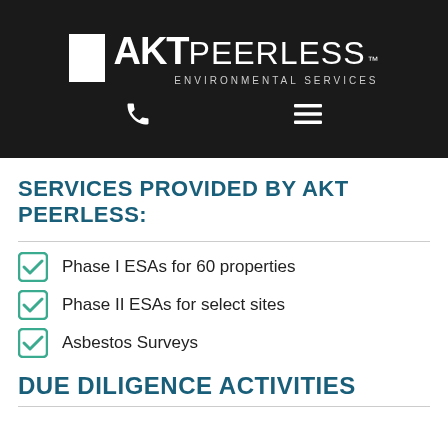AKT PEERLESS ENVIRONMENTAL SERVICES
SERVICES PROVIDED BY AKT PEERLESS:
Phase I ESAs for 60 properties
Phase II ESAs for select sites
Asbestos Surveys
DUE DILIGENCE ACTIVITIES